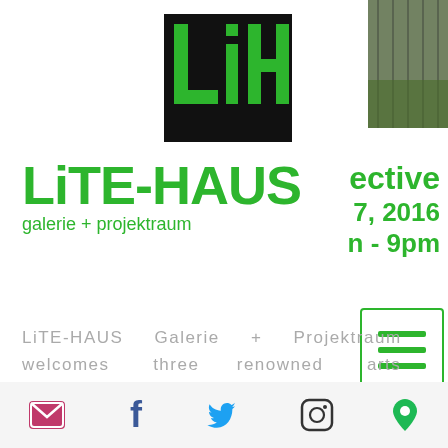[Figure (logo): LiH logo — black square background with green stylized 'L', 'i', 'H' letters]
[Figure (photo): Partial photo of outdoor scene (trees/fence) cropped at right edge]
LiTE-HAUS
galerie + projektraum
ective
7, 2016
n - 9pm
[Figure (other): Hamburger menu icon inside a green-bordered rounded rectangle]
reuuie.
Photo: Eva Davidova
LiTE-HAUS  Galerie  +  Projektraum  welcomes  three  renowned  arts
[Figure (infographic): Footer icon bar with email, Facebook, Twitter, Instagram, and location pin icons]